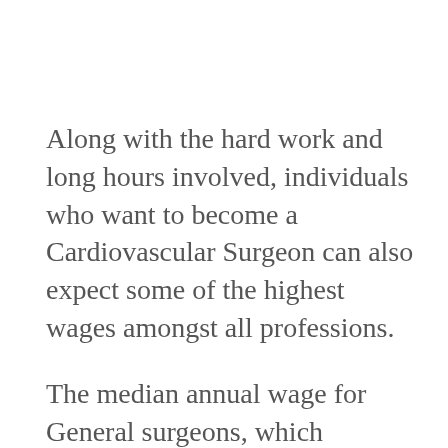Along with the hard work and long hours involved, individuals who want to become a Cardiovascular Surgeon can also expect some of the highest wages amongst all professions.
The median annual wage for General surgeons, which includes Cardiovascular Surgeons, was approximately $367,885 in 2012.
Exact wages will depend on a variety of factors